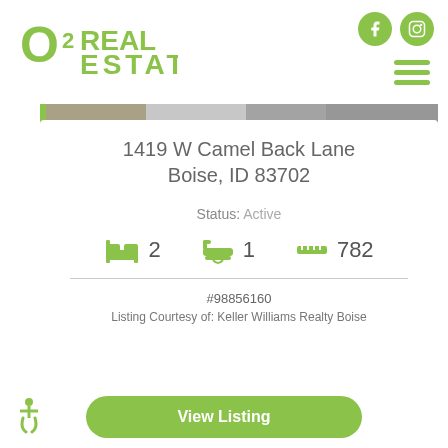[Figure (logo): O2 Real Estate Group logo in olive/yellow-green]
[Figure (photo): Property photo strip showing exterior of home]
1419 W Camel Back Lane Boise, ID 83702
Status: Active
2 bedrooms, 1 bathroom, 782 sq ft
#98856160
Listing Courtesy of: Keller Williams Realty Boise
View Listing